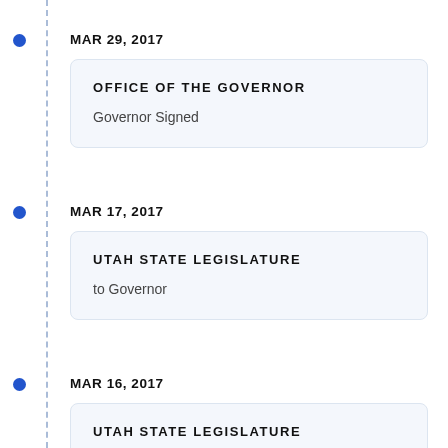MAR 29, 2017
OFFICE OF THE GOVERNOR
Governor Signed
MAR 17, 2017
UTAH STATE LEGISLATURE
to Governor
MAR 16, 2017
UTAH STATE LEGISLATURE